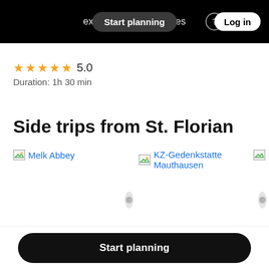Start planning   experiences & activities   Log in
★★★★☆ 5.0
Duration: 1h 30 min
Side trips from St. Florian
[Figure (screenshot): Broken image placeholder for Melk Abbey]
[Figure (screenshot): Broken image placeholder for KZ-Gedenkstatte Mauthausen]
Start planning